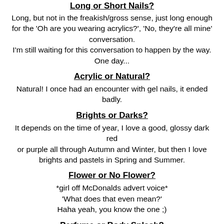Long or Short Nails?
Long, but not in the freakish/gross sense, just long enough for the 'Oh are you wearing acrylics?', 'No, they're all mine' conversation.
I'm still waiting for this conversation to happen by the way.
One day...
Acrylic or Natural?
Natural! I once had an encounter with gel nails, it ended badly.
Brights or Darks?
It depends on the time of year, I love a good, glossy dark red or purple all through Autumn and Winter, but then I love brights and pastels in Spring and Summer.
Flower or No Flower?
*girl off McDonalds advert voice*
'What does that even mean?'
Haha yeah, you know the one ;)
Perfume or Body Splash?
Perfumessss. The stronger the better.